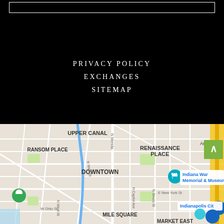PRIVACY POLICY
EXCHANGES
SITEMAP
[Figure (map): Google Maps screenshot showing downtown Indianapolis area including Upper Canal, Ransom Place, Renaissance Place, Downtown, Mile Square, Market East neighborhoods, Indiana War Memorial & Museum marker, Indianapolis City marker, and a green location pin on the left side.]